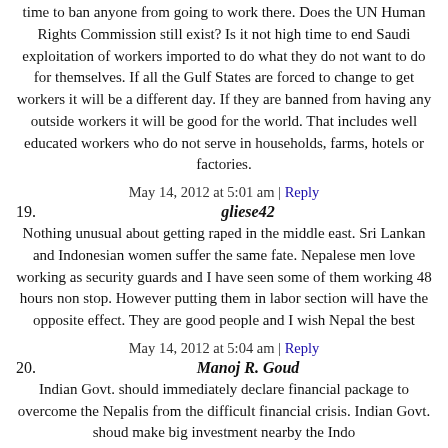time to ban anyone from going to work there. Does the UN Human Rights Commission still exist? Is it not high time to end Saudi exploitation of workers imported to do what they do not want to do for themselves. If all the Gulf States are forced to change to get workers it will be a different day. If they are banned from having any outside workers it will be good for the world. That includes well educated workers who do not serve in households, farms, hotels or factories.
May 14, 2012 at 5:01 am | Reply
19. gliese42
Nothing unusual about getting raped in the middle east. Sri Lankan and Indonesian women suffer the same fate. Nepalese men love working as security guards and I have seen some of them working 48 hours non stop. However putting them in labor section will have the opposite effect. They are good people and I wish Nepal the best
May 14, 2012 at 5:04 am | Reply
20. Manoj R. Goud
Indian Govt. should immediately declare financial package to overcome the Nepalis from the difficult financial crisis. Indian Govt. shoud make big investment nearby the Indo